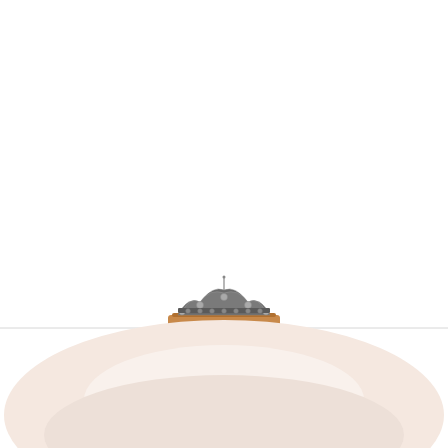school buses too.
[Figure (photo): A partial view of a taxi or vehicle with a decorative crown emblem/ornament on its roof, photographed from above against a white background. The top of the rounded vehicle roof and part of the crown ornament are visible. A thin horizontal gray line separates the white area from the lower portion of the image.]